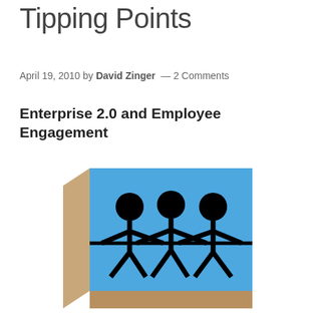Tipping Points
April 19, 2010 by David Zinger — 2 Comments
Enterprise 2.0 and Employee Engagement
[Figure (illustration): 3D box illustration with blue front face showing three stick figures holding hands, rendered with a tan/brown side and bottom giving a 3D effect]